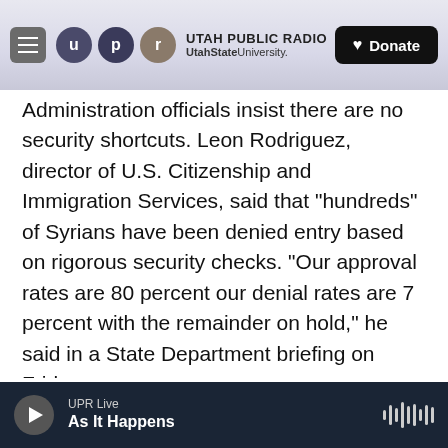[Figure (logo): Utah Public Radio header with hamburger menu, UPR logo circles (u, p, r), UTAH PUBLIC RADIO / UtahStateUniversity. text, and a black Donate button with heart icon]
Administration officials insist there are no security shortcuts. Leon Rodriguez, director of U.S. Citizenship and Immigration Services, said that "hundreds" of Syrians have been denied entry based on rigorous security checks. "Our approval rates are 80 percent our denial rates are 7 percent with the remainder on hold," he said in a State Department briefing on Friday.
Homeland Security Secretary Jeh Johnson told reporters on Wednesday that the increase in arrivals was due to a "surge" of State Department
UPR Live
As It Happens